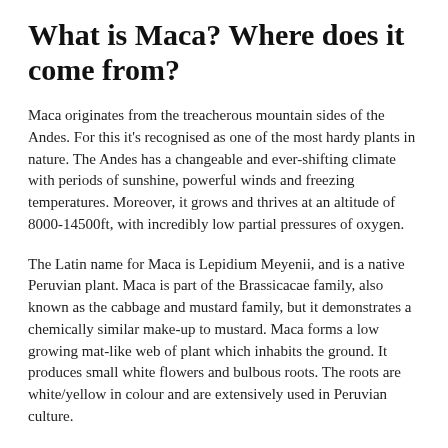What is Maca? Where does it come from?
Maca originates from the treacherous mountain sides of the Andes. For this it's recognised as one of the most hardy plants in nature. The Andes has a changeable and ever-shifting climate with periods of sunshine, powerful winds and freezing temperatures. Moreover, it grows and thrives at an altitude of 8000-14500ft, with incredibly low partial pressures of oxygen.
The Latin name for Maca is Lepidium Meyenii, and is a native Peruvian plant. Maca is part of the Brassicacae family, also known as the cabbage and mustard family, but it demonstrates a chemically similar make-up to mustard. Maca forms a low growing mat-like web of plant which inhabits the ground. It produces small white flowers and bulbous roots. The roots are white/yellow in colour and are extensively used in Peruvian culture.
According to historical writings Maca was founded and grown by...